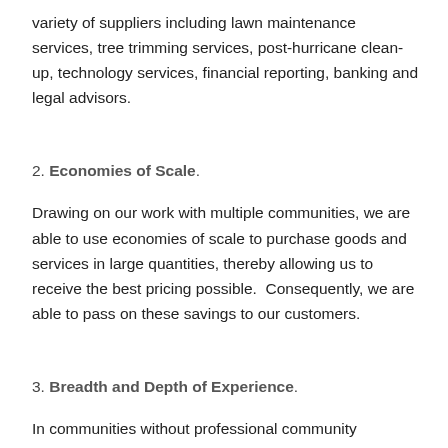variety of suppliers including lawn maintenance services, tree trimming services, post-hurricane clean-up, technology services, financial reporting, banking and legal advisors.
2. Economies of Scale.
Drawing on our work with multiple communities, we are able to use economies of scale to purchase goods and services in large quantities, thereby allowing us to receive the best pricing possible.  Consequently, we are able to pass on these savings to our customers.
3. Breadth and Depth of Experience.
In communities without professional community management, board members often try to resolve resident, employee, or